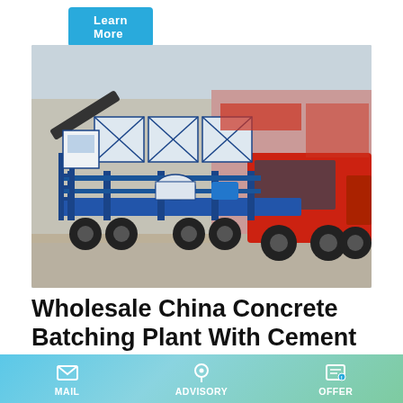Learn More
[Figure (photo): Wholesale China Concrete Batching Plant with Cement Mixer mounted on a red truck chassis, blue steel frame structure with conveyor belt and hopper bins, photographed outdoors at an industrial yard]
Wholesale China Concrete Batching Plant With Cement Mixer
Wholesale China Foley Catheter Woman OEM/ODM Quotes -
MAIL
ADVISORY
OFFER